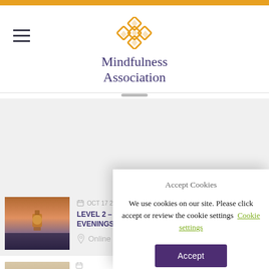Mindfulness Association
[Figure (screenshot): Event listing showing a course: OCT 17 2022 - APR 24 2023, LEVEL 2 – COMPASSION ONLINE MONDAY EVENINGS, Location: Online]
OCT 17 2022 - APR 24 2023
LEVEL 2 – COMPASSION ONLINE MONDAY EVENINGS
Online
Accept Cookies
We use cookies on our site. Please click accept or review the cookie settings  Cookie settings
Accept